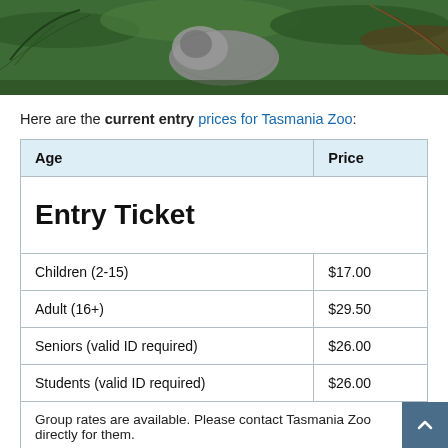[Figure (photo): Photo of a wombat or similar Australian animal amongst green ferns and vegetation, viewed from above]
Here are the current entry prices for Tasmania Zoo:
| Age | Price |
| --- | --- |
| Entry Ticket |  |
| Children (2-15) | $17.00 |
| Adult (16+) | $29.50 |
| Seniors (valid ID required) | $26.00 |
| Students (valid ID required) | $26.00 |
| Group rates are available. Please contact Tasmania Zoo directly for them. |  |